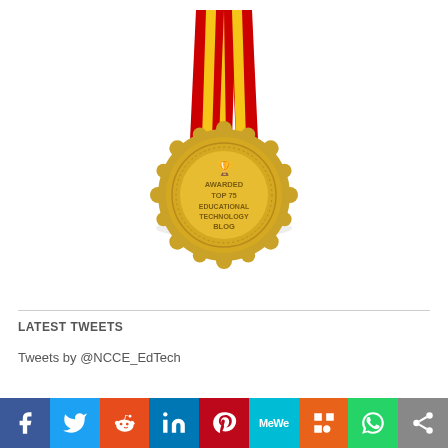[Figure (illustration): Gold medal with red and yellow ribbon awarded for Top 75 Educational Technology Blog, with text 'AWARDED TOP 75 EDUCATIONAL TECHNOLOGY BLOG' and a trophy icon on a gold medallion with scalloped edge]
LATEST TWEETS
Tweets by @NCCE_EdTech
[Figure (infographic): Social media sharing bar with icons for Facebook, Twitter, Reddit, LinkedIn, Pinterest, MeWe, Mix, WhatsApp, and Share]